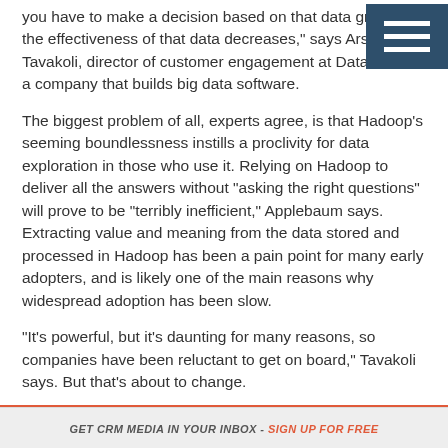you have to make a decision based on that data grows, the effectiveness of that data decreases," says Arsalan Tavakoli, director of customer engagement at Databricks, a company that builds big data software.
The biggest problem of all, experts agree, is that Hadoop's seeming boundlessness instills a proclivity for data exploration in those who use it. Relying on Hadoop to deliver all the answers without "asking the right questions" will prove to be "terribly inefficient," Applebaum says. Extracting value and meaning from the data stored and processed in Hadoop has been a pain point for many early adopters, and is likely one of the main reasons why widespread adoption has been slow.
"It's powerful, but it's daunting for many reasons, so companies have been reluctant to get on board," Tavakoli says. But that's about to change.
As companies begin to recognize Hadoop's potential, demand is increasing, and vendors are actively developing solutions that promise to painlessly transfer
GET CRM MEDIA IN YOUR INBOX - SIGN UP FOR FREE